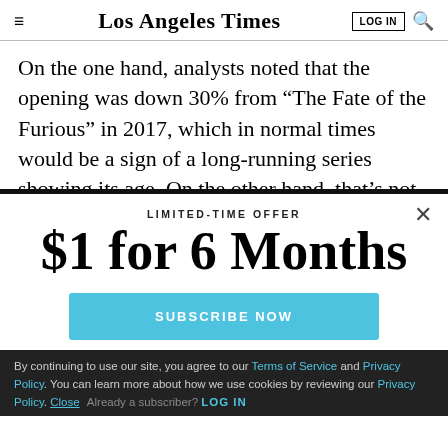Los Angeles Times
On the one hand, analysts noted that the opening was down 30% from “The Fate of the Furious” in 2017, which in normal times would be a sign of a long-running series showing its age. On the other hand, that’s not a very useful comparison given the state of the
LIMITED-TIME OFFER
$1 for 6 Months
SUBSCRIBE NOW
By continuing to use our site, you agree to our Terms of Service and Privacy Policy. You can learn more about how we use cookies by reviewing our Privacy Policy. Close
Already a subscriber? LOG IN